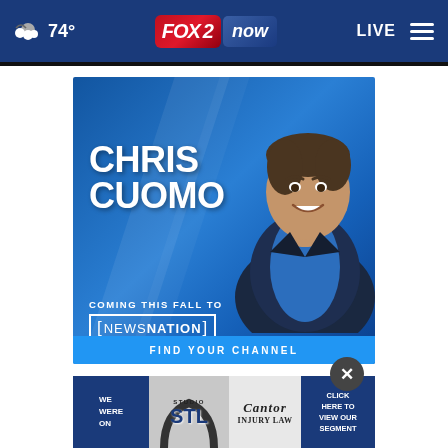74° FOX 2 now LIVE
[Figure (photo): Chris Cuomo promotional ad for NewsNation: large portrait photo of Chris Cuomo on blue gradient background with text CHRIS CUOMO, COMING THIS FALL TO [NEWSNATION], FIND YOUR CHANNEL]
[Figure (photo): Advertisement banner featuring Studio STL logo and Cantor Injury Law logo with text WE WERE ON and CLICK HERE TO VIEW OUR SEGMENT]